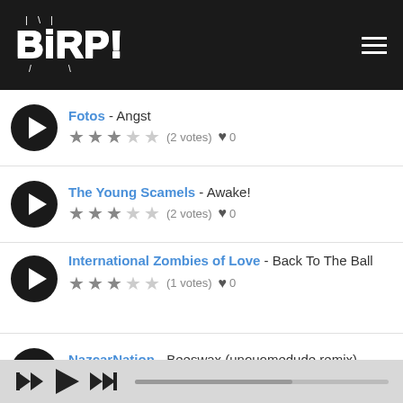BIRP! (logo with hamburger menu)
Fotos - Angst ★★★☆☆ (2 votes) ♥ 0
The Young Scamels - Awake! ★★★☆☆ (2 votes) ♥ 0
International Zombies of Love - Back To The Ball ★★★☆☆ (1 votes) ♥ 0
NazcarNation - Beeswax (unouomedude remix) ★★★★½ (6 votes) ♥ 0
Blue Hawaii - Blue Gowns ★★★★☆ (5 votes) ♥ 0
Player controls bar with skip back, play, skip forward, and progress bar